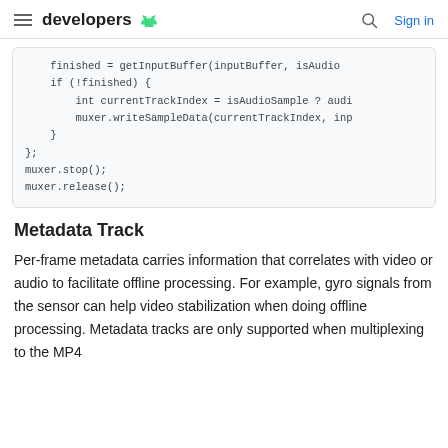developers  Sign in
finished = getInputBuffer(inputBuffer, isAudio
    if (!finished) {
        int currentTrackIndex = isAudioSample ? audi
        muxer.writeSampleData(currentTrackIndex, inp
    }
};
muxer.stop();
muxer.release();
Metadata Track
Per-frame metadata carries information that correlates with video or audio to facilitate offline processing. For example, gyro signals from the sensor can help video stabilization when doing offline processing. Metadata tracks are only supported when multiplexing to the MP4